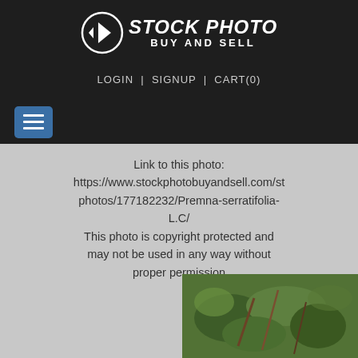[Figure (logo): Stock Photo Buy and Sell logo with circular arrow icon and white text on dark background]
LOGIN | SIGNUP | CART(0)
[Figure (other): Blue hamburger menu button with three white bars]
Link to this photo: https://www.stockphotobuyandsell.com/st photos/177182232/Premna-serratifolia-L.C/
This photo is copyright protected and may not be used in any way without proper permission
[Figure (photo): Partial view of a plant photo (Premna serratifolia L.C) showing green leaves and branches]